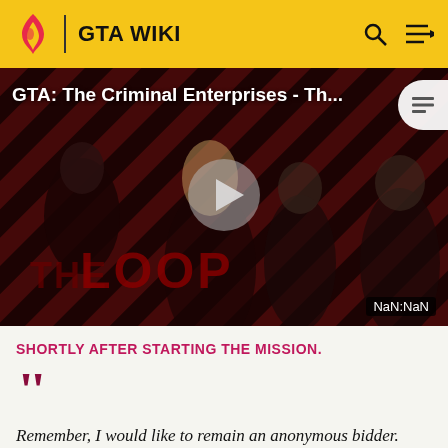GTA WIKI
[Figure (screenshot): GTA Wiki video thumbnail showing 'GTA: The Criminal Enterprises - Th...' with characters on a striped red/dark background and a play button. Shows 'THE LOOP' text and 'NaN:NaN' timestamp.]
SHORTLY AFTER STARTING THE MISSION.
Remember, I would like to remain an anonymous bidder.